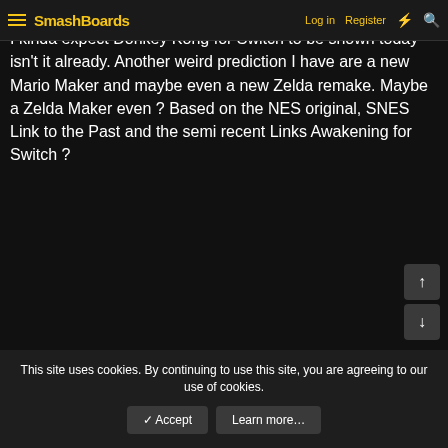SmashBoards | Log in | Register
really love to see is of course a new mainline Donkey Kong. I kinda expect Donkey Kong for Switch to be shown today isn't it already. Another weird prediction I have are a new Mario Maker and maybe even a new Zelda remake. Maybe a Zelda Maker even ? Based on the NES original, SNES Link to the Past and the semi recent Links Awakening for Switch ?
This site uses cookies. By continuing to use this site, you are agreeing to our use of cookies.